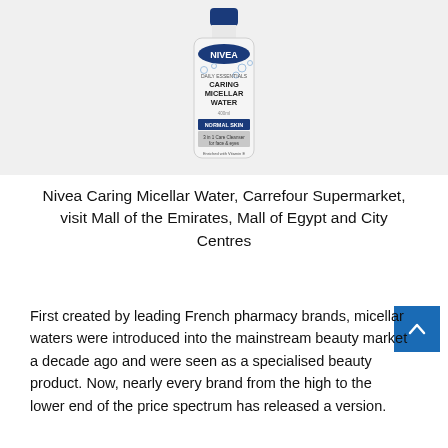[Figure (photo): NIVEA Caring Micellar Water product bottle with blue cap, white label showing 'DAILY ESSENTIALS CARING MICELLAR WATER', 400ml, Normal Skin, 3 in 1 Care Cleanser for face & eyes, Enriched with Vitamin E]
Nivea Caring Micellar Water, Carrefour Supermarket, visit Mall of the Emirates, Mall of Egypt and City Centres
First created by leading French pharmacy brands, micellar waters were introduced into the mainstream beauty market a decade ago and were seen as a specialised beauty product. Now, nearly every brand from the high to the lower end of the price spectrum has released a version.